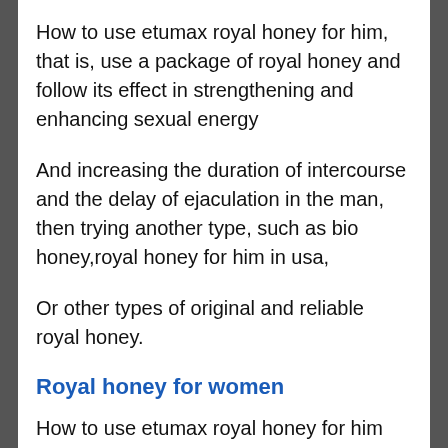How to use etumax royal honey for him, that is, use a package of royal honey and follow its effect in strengthening and enhancing sexual energy
And increasing the duration of intercourse and the delay of ejaculation in the man, then trying another type, such as bio honey,royal honey for him in usa,
Or other types of original and reliable royal honey.
Royal honey for women
How to use etumax royal honey for him